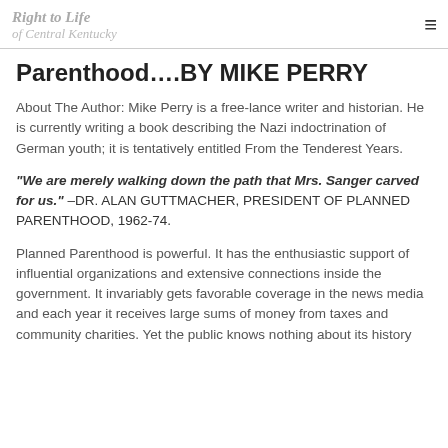Right to Life of Central Kentucky
Parenthood….BY MIKE PERRY
About The Author:  Mike Perry is a free-lance writer and historian. He is currently writing a book describing the Nazi indoctrination of German youth; it is tentatively entitled From the Tenderest Years.
“We are merely walking down the path that Mrs. Sanger carved for us.” –DR. ALAN GUTTMACHER, PRESIDENT OF PLANNED PARENTHOOD, 1962-74.
Planned Parenthood is powerful. It has the enthusiastic support of influential organizations and extensive connections inside the government. It invariably gets favorable coverage in the news media and each year it receives large sums of money from taxes and community charities. Yet the public knows nothing about its history